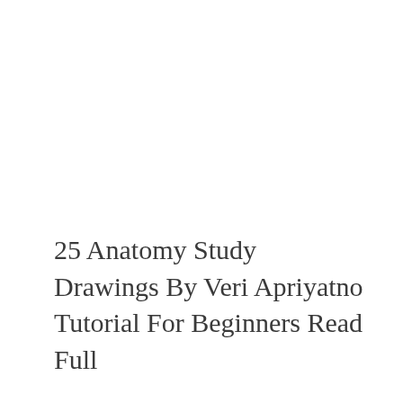25 Anatomy Study Drawings By Veri Apriyatno Tutorial For Beginners Read Full